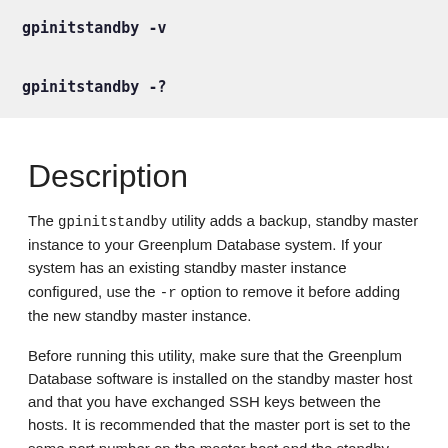gpinitstandby -v

gpinitstandby -?
Description
The gpinitstandby utility adds a backup, standby master instance to your Greenplum Database system. If your system has an existing standby master instance configured, use the -r option to remove it before adding the new standby master instance.
Before running this utility, make sure that the Greenplum Database software is installed on the standby master host and that you have exchanged SSH keys between the hosts. It is recommended that the master port is set to the same port number on the master host and the standby master host.